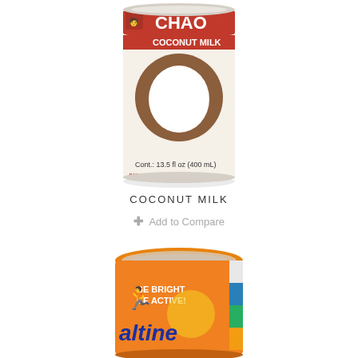[Figure (photo): A can of Chao Koh Coconut Milk, 13.5 fl oz (400 mL), with Thai text and a coconut image on the label, photographed against a light background.]
COCONUT MILK
+ Add to Compare
[Figure (photo): An orange canister of Ovaltine (malt and milk product) with 'BE BRIGHT BE ACTIVE!' text and a person jumping, photographed from the top-front angle.]